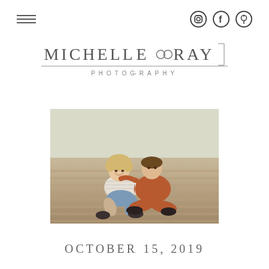[Figure (other): Hamburger menu icon (three horizontal lines) on left, and three social media icons (Instagram, Facebook, Pinterest) on right, forming a navigation bar]
MICHELLE◎RAY PHOTOGRAPHY
[Figure (photo): Two children sitting together on a wooden deck/dock outdoors; one child (wearing a rust/orange long-sleeve shirt, sitting cross-legged) has their arm around the other child (wearing a light striped shirt and blue shorts), who is laughing. Both are wearing dark shoes.]
OCTOBER 15, 2019